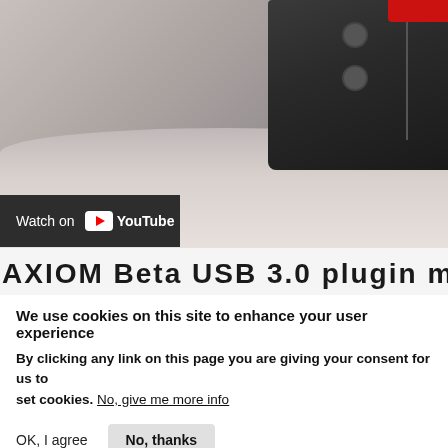[Figure (screenshot): YouTube video thumbnail showing a hand near a dark electronic device/module with knobs, on a light background. A dark bar at bottom left reads 'Watch on YouTube' with the YouTube logo.]
AXIOM Beta USB 3.0 plugin module
We use cookies on this site to enhance your user experience
By clicking any link on this page you are giving your consent for us to set cookies. No, give me more info
OK, I agree
No, thanks